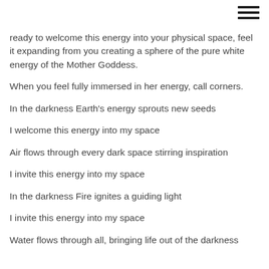ready to welcome this energy into your physical space, feel it expanding from you creating a sphere of the pure white energy of the Mother Goddess.
When you feel fully immersed in her energy, call corners.
In the darkness Earth's energy sprouts new seeds
I welcome this energy into my space
Air flows through every dark space stirring inspiration
I invite this energy into my space
In the darkness Fire ignites a guiding light
I invite this energy into my space
Water flows through all, bringing life out of the darkness